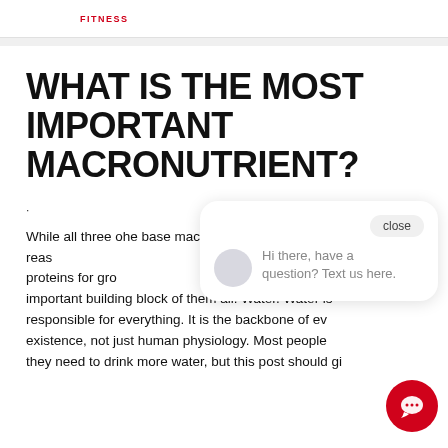FITNESS
WHAT IS THE MOST IMPORTANT MACRONUTRIENT?
·
While all three of the base macronutrients are important for different reasons (carbs for energy, fats for insulation, proteins for growth and repair), water is the most important building block of them all. Water. Water is responsible for everything. It is the backbone of every existence, not just human physiology. Most people know they need to drink more water, but this post should give you a better understanding of just how important it really is.